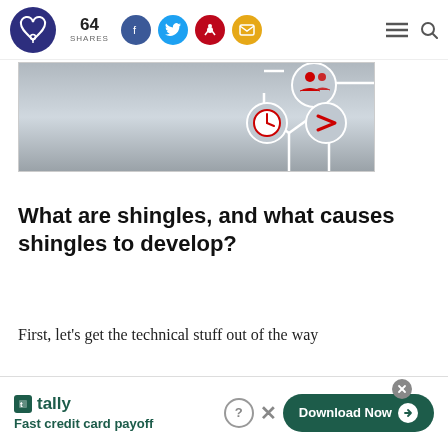64 SHARES — social sharing header with Facebook, Twitter, Pinterest, Email buttons
[Figure (illustration): Banner image with gray metallic background showing white circuit/flowchart lines connecting circular icons: red people/group icon, red clock icon, red arrow/chevron icon]
What are shingles, and what causes shingles to develop?
First, let's get the technical stuff out of the way
[Figure (infographic): Tally advertisement banner: 'tally Fast credit card payoff' with Download Now button]